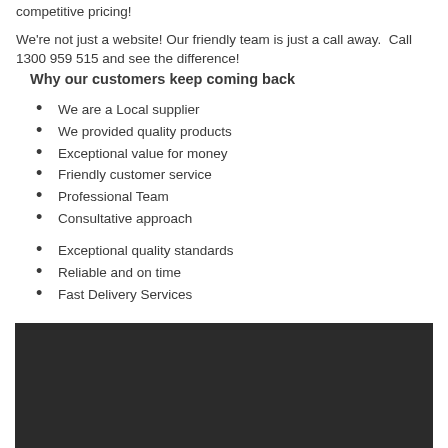competitive pricing!
We're not just a website! Our friendly team is just a call away.  Call 1300 959 515 and see the difference!
Why our customers keep coming back
We are a Local supplier
We provided quality products
Exceptional value for money
Friendly customer service
Professional Team
Consultative approach
Exceptional quality standards
Reliable and on time
Fast Delivery Services
[Figure (photo): Dark/black rectangular image area at the bottom of the page]